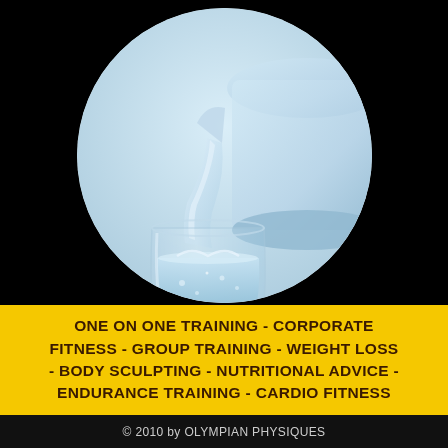[Figure (photo): Circular-cropped photo of water being poured from a pitcher into a glass, light blue tones on black background]
ONE ON ONE TRAINING - CORPORATE FITNESS - GROUP TRAINING - WEIGHT LOSS - BODY SCULPTING - NUTRITIONAL ADVICE - ENDURANCE TRAINING - CARDIO FITNESS
© 2010 by OLYMPIAN PHYSIQUES